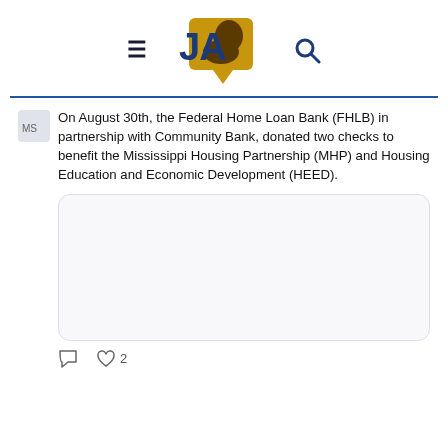[Figure (logo): JA (Jackson Advocate) newspaper logo with stylized silhouette head in gold speech bubble, flanked by hamburger menu icon and search icon]
[Figure (logo): Small avatar/profile image for Mississippi-related Twitter account]
On August 30th, the Federal Home Loan Bank (FHLB) in partnership with Community Bank, donated two checks to benefit the Mississippi Housing Partnership (MHP) and Housing Education and Economic Development (HEED).
[Figure (photo): Embedded tweet image placeholder (white/light gray rounded rectangle)]
2